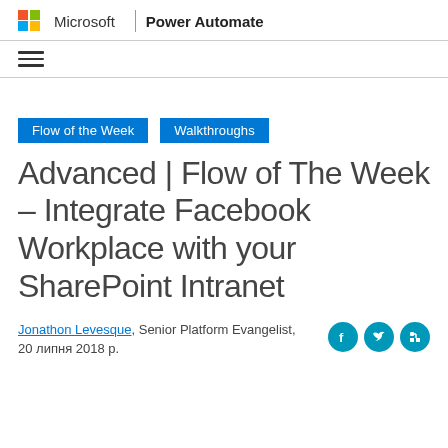Microsoft | Power Automate
≡ (hamburger menu)
Flow of the Week   Walkthroughs
Advanced | Flow of The Week – Integrate Facebook Workplace with your SharePoint Intranet
Jonathon Levesque, Senior Platform Evangelist, 20 липня 2018 р.